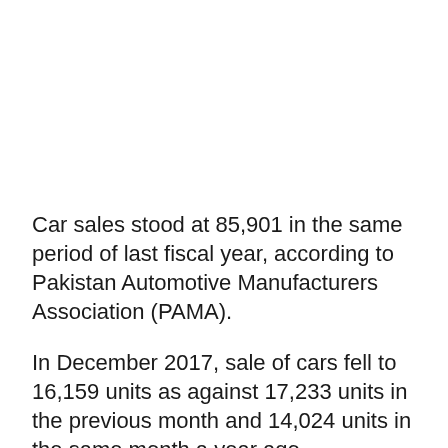Car sales stood at 85,901 in the same period of last fiscal year, according to Pakistan Automotive Manufacturers Association (PAMA).
In December 2017, sale of cars fell to 16,159 units as against 17,233 units in the previous month and 14,024 units in the same month a year ago.
Trading Competition is...